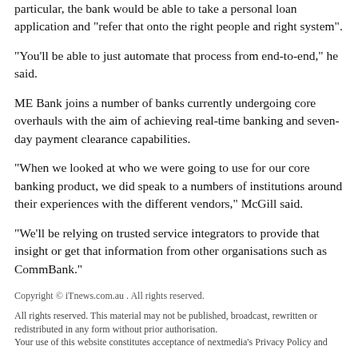particular, the bank would be able to take a personal loan application and "refer that onto the right people and right system".
"You'll be able to just automate that process from end-to-end," he said.
ME Bank joins a number of banks currently undergoing core overhauls with the aim of achieving real-time banking and seven-day payment clearance capabilities.
"When we looked at who we were going to use for our core banking product, we did speak to a numbers of institutions around their experiences with the different vendors," McGill said.
"We'll be relying on trusted service integrators to provide that insight or get that information from other organisations such as CommBank."
Copyright © iTnews.com.au . All rights reserved.
All rights reserved. This material may not be published, broadcast, rewritten or redistributed in any form without prior authorisation.
Your use of this website constitutes acceptance of nextmedia's Privacy Policy and